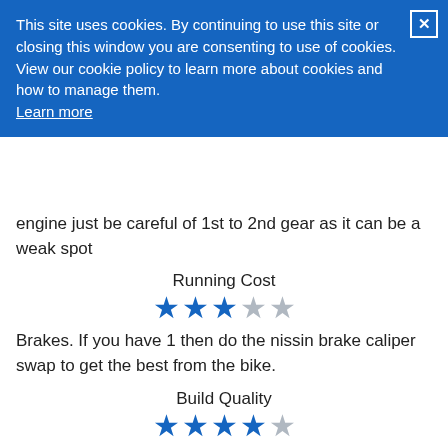This site uses cookies. By continuing to use this site or closing this window you are consenting to use of cookies. View our cookie policy to learn more about cookies and how to manage them. Learn more
engine just be careful of 1st to 2nd gear as it can be a weak spot
Running Cost
[Figure (other): 3 filled stars and 2 empty stars rating for Running Cost]
Brakes. If you have 1 then do the nissin brake caliper swap to get the best from the bike.
Build Quality
[Figure (other): 4 filled stars and 1 empty star rating for Build Quality]
It's an old bike that's been mistreated over the years and hasn't faired well but soon responds to better treatment.
Brake
[Figure (other): 3 filled stars and 2 empty stars rating for Brake]
The standard brakes are very but work if looked after. I have done the nissin brake caliper swap